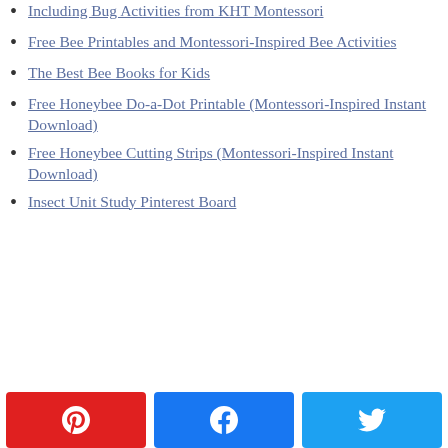Including Bug Activities from KHT Montessori
Free Bee Printables and Montessori-Inspired Bee Activities
The Best Bee Books for Kids
Free Honeybee Do-a-Dot Printable (Montessori-Inspired Instant Download)
Free Honeybee Cutting Strips (Montessori-Inspired Instant Download)
Insect Unit Study Pinterest Board
[Figure (infographic): Social sharing buttons: Pinterest (red), Facebook (blue), Twitter (light blue), each with icon]